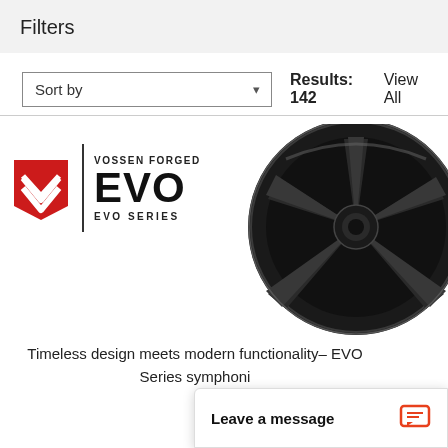Filters
Sort by  Results: 142  View All
[Figure (logo): Vossen Forged EVO Series logo with red shield emblem and large EVO text, alongside a dark chrome multi-spoke forged wheel photograph]
Timeless design meets modern functionality– EVO Series symphoni